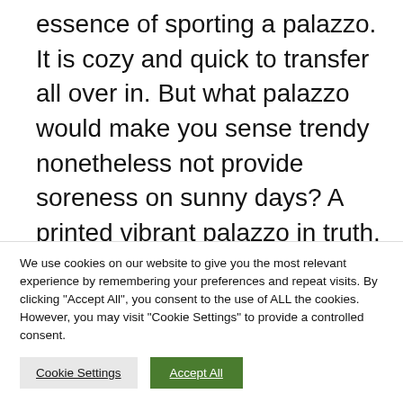essence of sporting a palazzo. It is cozy and quick to transfer all over in. But what palazzo would make you sense trendy nonetheless not provide soreness on sunny days? A printed vibrant palazzo in truth. All you need to have is a printed palazzo, may it be abstract, checkered, chevron, ditzy, or floral. These prints are in by itself a statement which will expose the most effective of you. Of study course, pairing them with suitable jewelry and
We use cookies on our website to give you the most relevant experience by remembering your preferences and repeat visits. By clicking "Accept All", you consent to the use of ALL the cookies. However, you may visit "Cookie Settings" to provide a controlled consent.